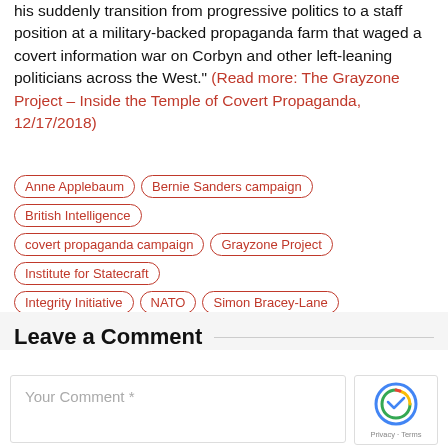his suddenly transition from progressive politics to a staff position at a military-backed propaganda farm that waged a covert information war on Corbyn and other left-leaning politicians across the West." (Read more: The Grayzone Project – Inside the Temple of Covert Propaganda, 12/17/2018)
Anne Applebaum
Bernie Sanders campaign
British Intelligence
covert propaganda campaign
Grayzone Project
Institute for Statecraft
Integrity Initiative
NATO
Simon Bracey-Lane
Leave a Comment
Your Comment *